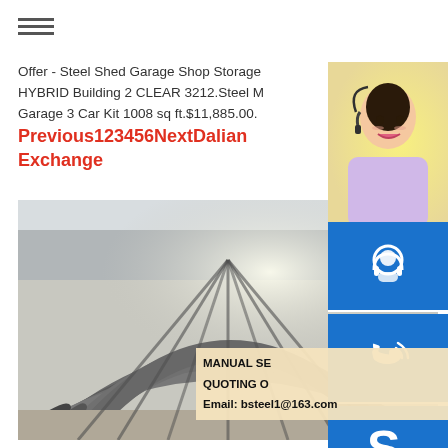[Figure (other): Hamburger menu icon with three horizontal lines]
Offer - Steel Shed Garage Shop Storage HYBRID Building 2 CLEAR 3212.Steel M Garage 3 Car Kit 1008 sq ft.$11,885.00.
Previous123456NextDalian Exchange
[Figure (photo): Steel curved/bent metal sheets stacked together, industrial port setting with cranes in background]
[Figure (photo): Customer service representative woman smiling with headset]
[Figure (other): Blue button with headset/support icon]
[Figure (other): Blue button with phone/call icon]
[Figure (other): Blue button with Skype icon]
MANUAL SE QUOTING O Email: bsteel1@163.com